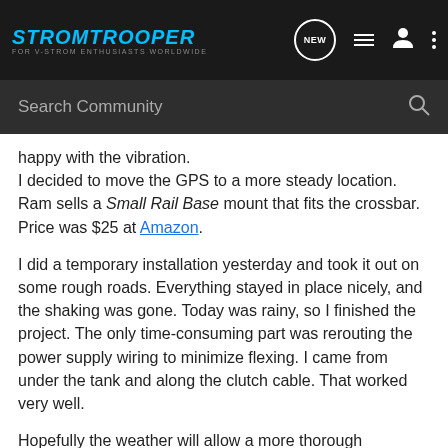STROMTROOPER – FOR V-STROM ENTHUSIASTS WORLDWIDE
Search Community
happy with the vibration.
I decided to move the GPS to a more steady location. Ram sells a Small Rail Base mount that fits the crossbar. Price was $25 at Amazon.
I did a temporary installation yesterday and took it out on some rough roads. Everything stayed in place nicely, and the shaking was gone. Today was rainy, so I finished the project. The only time-consuming part was rerouting the power supply wiring to minimize flexing. I came from under the tank and along the clutch cable. That worked very well.
Hopefully the weather will allow a more thorough evaluation. I'll report any problems.